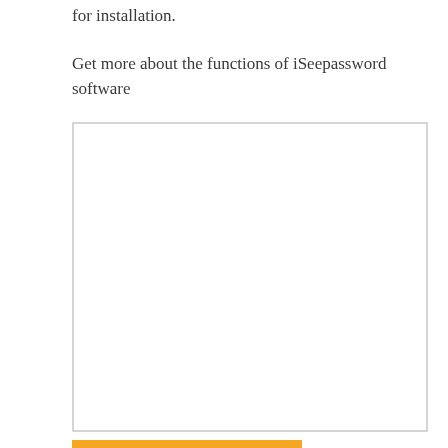for installation.
Get more about the functions of iSeepassword software
[Figure (other): Empty white rectangle with light gray border, representing a placeholder image or screenshot area.]